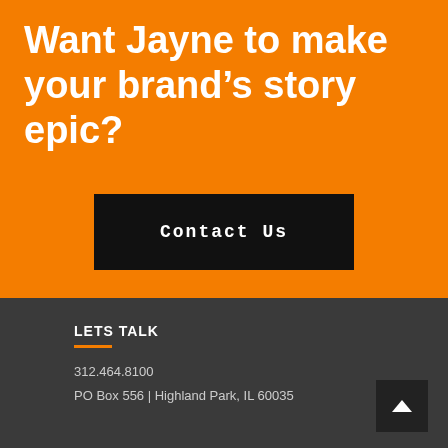Want Jayne to make your brand’s story epic?
Contact Us
LETS TALK
312.464.8100
PO Box 556 | Highland Park, IL 60035